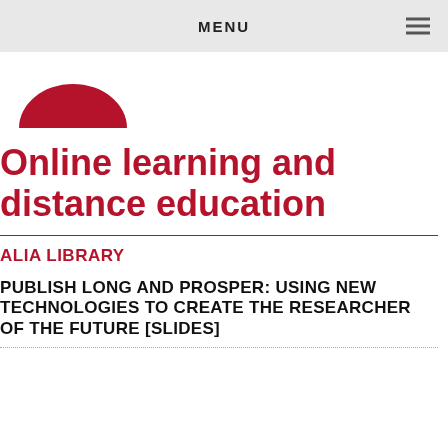MENU
[Figure (logo): Red semicircle logo (university/institution logo)]
Online learning and distance education
ALIA LIBRARY
PUBLISH LONG AND PROSPER: USING NEW TECHNOLOGIES TO CREATE THE RESEARCHER OF THE FUTURE [SLIDES]